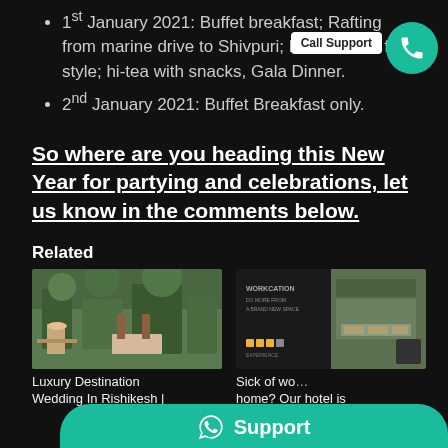1st January 2021: Buffet breakfast; Rafting from marine drive to Shivpuri; Picnic lunch fete style; hi-tea with snacks, Gala Dinner.
2nd January 2021: Buffet Breakfast only.
So where are you heading this New Year for partying and celebrations, let us know in the comments below.
Related
[Figure (photo): Luxury destination wedding venue in Rishikesh with swings and lush garden]
Luxury Destination Wedding In Rishikesh |
[Figure (photo): Workcation hotel promotional image split with garden outdoor seating]
Sick of working from home? Our hotel is